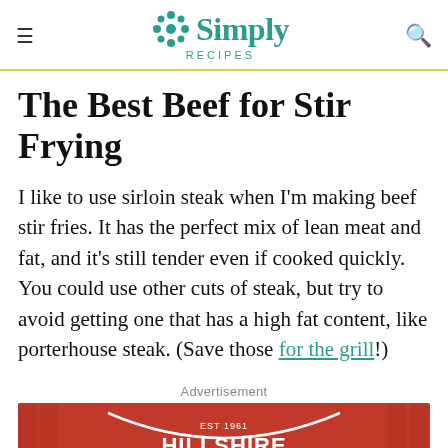Simply Recipes
The Best Beef for Stir Frying
I like to use sirloin steak when I'm making beef stir fries. It has the perfect mix of lean meat and fat, and it's still tender even if cooked quickly. You could use other cuts of steak, but try to avoid getting one that has a high fat content, like porterhouse steak. (Save those for the grill!)
[Figure (photo): Hillshire Farm advertisement with red background showing 'IS ALWAYS IN' text and 'MADE RIGHT. ON THE FARM.' tagline, with a cast iron skillet of food]